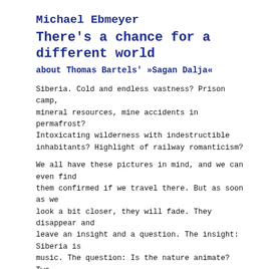Michael Ebmeyer
There's a chance for a different world
about Thomas Bartels' »Sagan Dalja«
Siberia. Cold and endless vastness? Prison camp, mineral resources, mine accidents in permafrost? Intoxicating wilderness with indestructible inhabitants? Highlight of railway romanticism?
We all have these pictures in mind, and we can even find them confirmed if we travel there. But as soon as we look a bit closer, they will fade. They disappear and leave an insight and a question. The insight: Siberia is music. The question: Is the nature animate? Two leitmotivs for a documentary film.
Let it be overtone singing, Jew's harp and various string instruments or the hypnotic beat of drums: Siberia is music. The land is filled with sounds, it lives in tunes and rhythms. And it's these rhythms that move the film SAGAN DALJA.